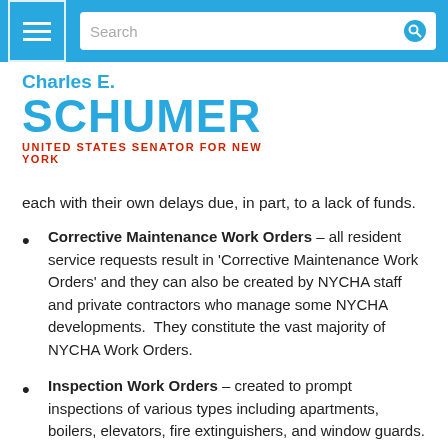Charles E. Schumer — United States Senator for New York
each with their own delays due, in part, to a lack of funds.
Corrective Maintenance Work Orders – all resident service requests result in 'Corrective Maintenance Work Orders' and they can also be created by NYCHA staff and private contractors who manage some NYCHA developments.  They constitute the vast majority of NYCHA Work Orders.
Inspection Work Orders – created to prompt inspections of various types including apartments, boilers, elevators, fire extinguishers, and window guards.